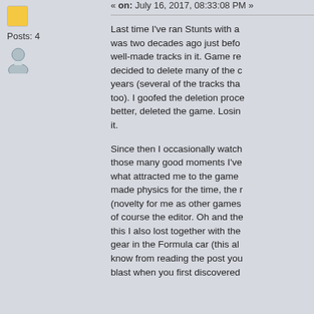« on: July 16, 2017, 08:33:08 PM »
[Figure (illustration): Yellow square avatar icon]
Posts: 4
[Figure (illustration): User/person icon]
Last time I've ran Stunts with a was two decades ago just befo well-made tracks in it. Game re decided to delete many of the c years (several of the tracks tha too). I goofed the deletion proce better, deleted the game. Losin it.
Since then I occasionally watch those many good moments I've what attracted me to the game made physics for the time, the r (novelty for me as other games of course the editor. Oh and the this I also lost together with the gear in the Formula car (this al know from reading the post you blast when you first discovered